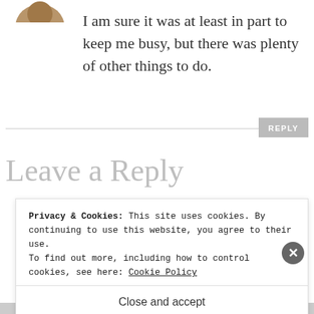[Figure (photo): Partial avatar/profile image at top, partially cropped]
I am sure it was at least in part to keep me busy, but there was plenty of other things to do.
Leave a Reply
Privacy & Cookies: This site uses cookies. By continuing to use this website, you agree to their use.
To find out more, including how to control cookies, see here: Cookie Policy
Close and accept